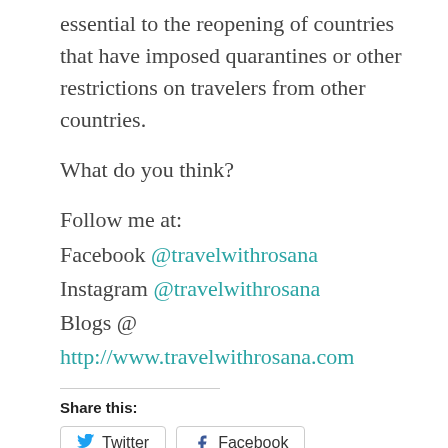essential to the reopening of countries that have imposed quarantines or other restrictions on travelers from other countries.
What do you think?
Follow me at:
Facebook @travelwithrosana
Instagram @travelwithrosana
Blogs @ http://www.travelwithrosana.com
Share this:
Twitter  Facebook
Like
Be the first to like this.